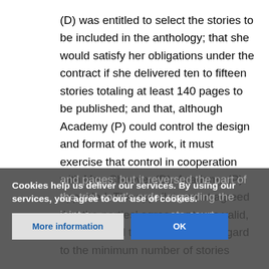(D) was entitled to select the stories to be included in the anthology; that she would satisfy her obligations under the contract if she delivered ten to fifteen stories totaling at least 140 pages to be published; and that, although Academy (P) could control the design and format of the work, it must exercise that control in cooperation with Mrs. Cheever (D). Academy (P) appealed. The appellate court agreed that the parties' agreement was valid, and it upheld the decision with regard to the minimum number of stories and pages; but it reversed the part of the trial court's order regarding the joint exercise... appellate court h... does not have